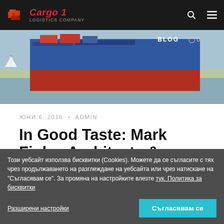[Figure (logo): Cargo 1 Logistics Company logo with red cargo boxes icon and red italic text]
[Figure (photo): Cargo ship hull photo showing blue and red container ship on water, with BLOG label and comment icon]
ЮНИ 6, 2016  •  admin
In Good Taste: Mark Finlay Architects & Interiors
Този уебсайт използва бисквитки (Cookies). Можете да се съгласите с тях чрез продължаването на разглеждане на уебсайта или чрез натискане на "Съгласявам се". За промяна на настройките влезте тук. Политика за бисквитки
Разширени настройки
Съгласявам се